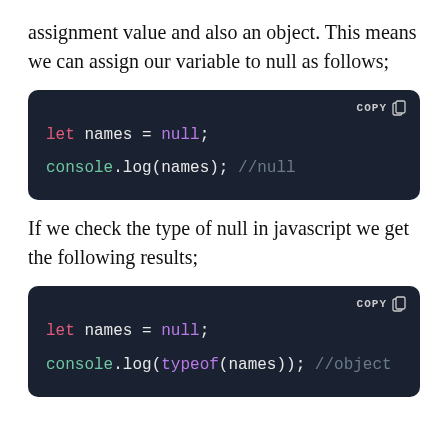assignment value and also an object. This means we can assign our variable to null as follows;
[Figure (screenshot): Code block on dark background showing: let names = null; console.log(names); //null]
If we check the type of null in javascript we get the following results;
[Figure (screenshot): Code block on dark background showing: let names = null; console.log(typeof(names)); //object]